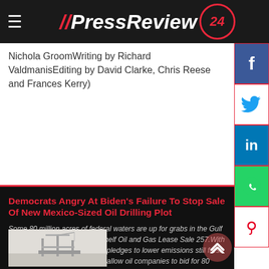PressReview24
Nichola GroomWriting by Richard ValdmanisEditing by David Clarke, Chris Reese and Frances Kerry)
Democrats Angry At Biden's Failure To Stop Sale Of New Mexico-Sized Oil Drilling Plot
Some 80 million acres of federal waters are up for grabs in the Gulf of Mexico Outer Continental Shelf Oil and Gas Lease Sale 257.With the president's much heralded pledges to lower emissions still fresh in the memory, the auction will allow oil companies to bid for 80 million acres of federal waters in the Gulf of Mexico.
[Figure (photo): Offshore oil drilling platform in hazy/foggy conditions]